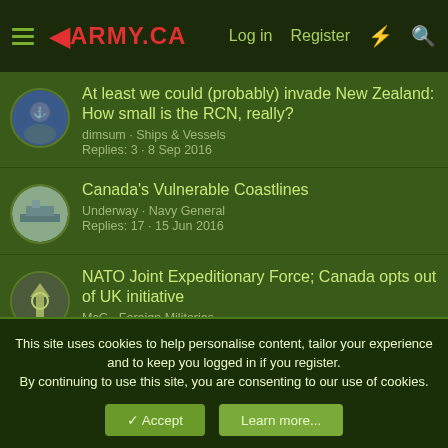4ARMY.CA — Log in · Register
At least we could (probably) invade New Zealand: How small is the RCN, really?
dimsum · Ships & Vessels
Replies: 3 · 8 Sep 2016
Canada's Vulnerable Coastlines
Underway · Navy General
Replies: 17 · 15 Jun 2016
NATO Joint Expeditionary Force; Canada opts out of UK initiative
McG · Foreign Militaries
Replies: 0 · 11 Jan 2015
This site uses cookies to help personalise content, tailor your experience and to keep you logged in if you register. By continuing to use this site, you are consenting to our use of cookies.